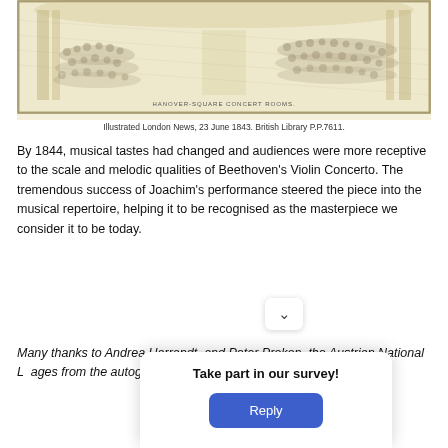[Figure (illustration): A black and white engraving of Hanover Square Concert Rooms interior showing a large audience gathered in rows with performers at the front. Text at bottom reads 'HANOVER-SQUARE CONCERT ROOMS.']
Illustrated London News, 23 June 1843. British Library P.P.7611.
By 1844, musical tastes had changed and audiences were more receptive to the scale and melodic qualities of Beethoven's Violin Concerto. The tremendous success of Joachim's performance steered the piece into the musical repertoire, helping it to be recognised as the masterpiece we consider it to be today.
Many thanks to Andrea Harrandt, and Peter Prokon... the Austrian National L... ages from the autogr...
[Figure (screenshot): A modal survey popup with a chevron close button, title 'Take part in our survey!' and a blue 'Reply' button.]